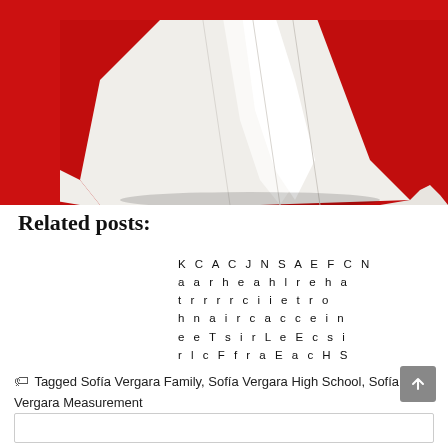[Figure (photo): Close-up photo of a white dress train/hem on a red carpet background]
Related posts:
[Figure (other): Grid of letters arranged in columns: K C A C J N S A E F C N / a a r h e a h l r e h a / t r r r r c i i e t r o / h n a i r c a c c e i n / e e T s i r L e E c s i / r l c F f r a E a c H S]
Tagged Sofía Vergara Family, Sofía Vergara High School, Sofía Vergara Measurement